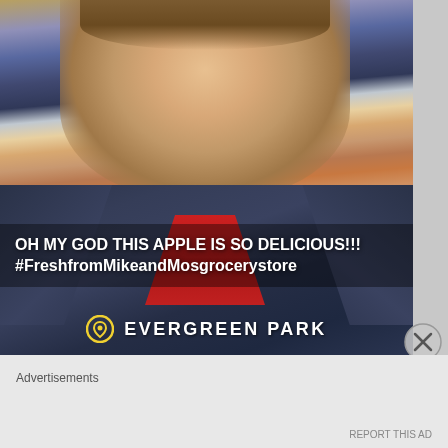[Figure (photo): A person smiling taking a selfie, wearing a dark gray zip-up jacket over a red shirt. Snapchat-style screenshot with overlaid text showing 'OH MY GOD THIS APPLE IS SO DELICIOUS!!! #FreshfromMikeandMosgrocerystore' and a location tag reading 'EVERGREEN PARK'.]
Advertisements
REPORT THIS AD